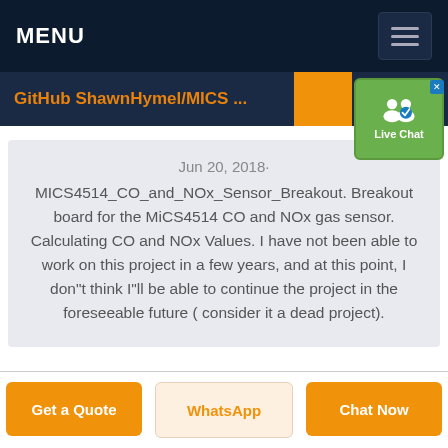MENU
GitHub ShawnHymel/MICS ...
Jun 20, 2018· MICS4514_CO_and_NOx_Sensor_Breakout. Breakout board for the MiCS4514 CO and NOx gas sensor. Calculating CO and NOx Values. I have not been able to work on this project in a few years, and at this point, I don"t think I"ll be able to continue the project in the foreseeable future ( consider it a dead project).
Get a Quote
WhatsApp
Chat Now